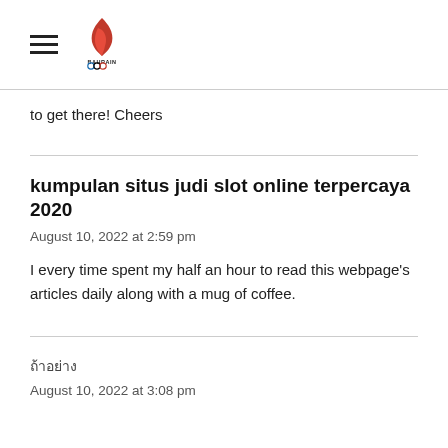Bahrain Olympic Committee
to get there! Cheers
kumpulan situs judi slot online terpercaya 2020
August 10, 2022 at 2:59 pm
I every time spent my half an hour to read this webpage's articles daily along with a mug of coffee.
ถ้าอย่าง
August 10, 2022 at 3:08 pm